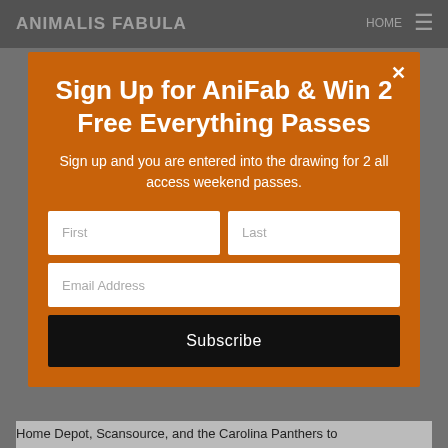ANIMALIS FABULA
Sign Up for AniFab & Win 2 Free Everything Passes
Sign up and you are entered into the drawing for 2 all access weekend passes.
First | Last | Email Address | Subscribe
Home Depot, Scansource, and the Carolina Panthers to